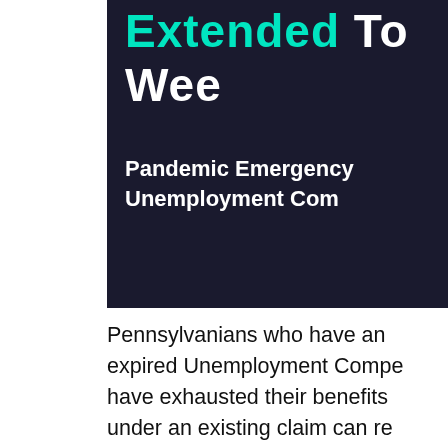[Figure (other): Dark navy banner with text 'Extended To Wee...' in teal/green and white bold, and subtitle 'Pandemic Emergency Unemployment Com...' in white bold on dark background]
Pennsylvanians who have an expired Unemployment Compensation claim or have exhausted their benefits under an existing claim can receive additional 13 weeks of payments through the new Pandemic Emergency Unemployment Compensation program. The extended benefits are available through December 26 for claimants who have exhausted their benefits.
If a claimant's benefits have expired, they must submit an application for the extended benefit online or mail a paper application. If an individual has an open claim and exhausts their benefits, the additional 13 weeks will be automatically added to their existing claim. Applicants will receive the same weekly benefit as their regular rate, including the additional $600 per week from the Federal Pandemic Unemployment Compensation (FPUC). Benefits will be available retroactive to the benefit week ending...